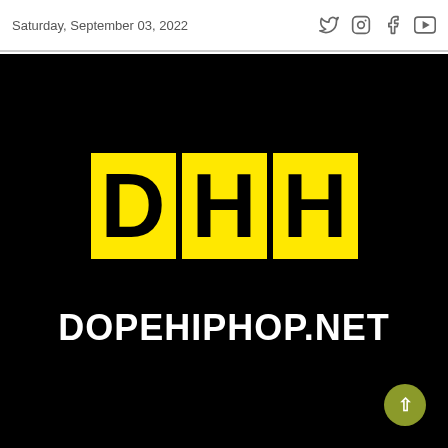Saturday, September 03, 2022
[Figure (logo): DHH logo with yellow squares containing black letters D, H, H and white text DOPEHIPHOP.NET below on black background]